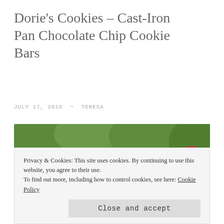Dorie's Cookies – Cast-Iron Pan Chocolate Chip Cookie Bars
JULY 17, 2018  ~  TERESA
[Figure (photo): Close-up photo of chocolate chip cookie bars resting on a wooden slatted surface with green foliage and flowers in the background]
Privacy & Cookies: This site uses cookies. By continuing to use this website, you agree to their use.
To find out more, including how to control cookies, see here: Cookie Policy
Close and accept